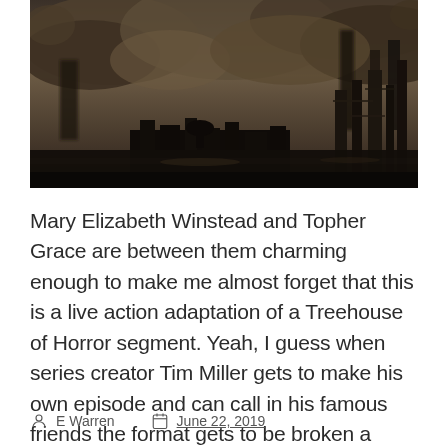[Figure (photo): A dark, moody cinematic scene showing an industrial cityscape with smoke stacks, smog, and dramatic clouds. The image has a dystopian/post-apocalyptic atmosphere with dark tones of brown, grey, and black.]
Mary Elizabeth Winstead and Topher Grace are between them charming enough to make me almost forget that this is a live action adaptation of a Treehouse of Horror segment. Yeah, I guess when series creator Tim Miller gets to make his own episode and can call in his famous friends the format gets to be broken a little.
E Warren   June 22, 2019